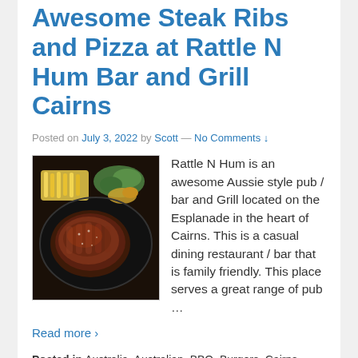Awesome Steak Ribs and Pizza at Rattle N Hum Bar and Grill Cairns
Posted on July 3, 2022 by Scott — No Comments ↓
[Figure (photo): A plate of BBQ ribs served with french fries and salad on a dark plate]
Rattle N Hum is an awesome Aussie style pub / bar and Grill located on the Esplanade in the heart of Cairns. This is a casual dining restaurant / bar that is family friendly. This place serves a great range of pub …
Read more ›
Posted in Australia, Australian, BBQ, Burgers, Cairns, Food, pizza, Pub Food, Steak, Steaks